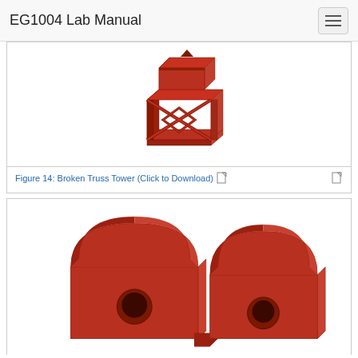EG1004 Lab Manual
[Figure (engineering-diagram): 3D CAD render of a broken truss tower structure made of red/dark-red rectangular beams arranged in a geometric lattice pattern with diagonal cross members, shown from a perspective view on white background.]
Figure 14: Broken Truss Tower (Click to Download)
[Figure (engineering-diagram): 3D CAD render of two red bracket/clamp components side by side, each with a rounded arch top, vertical rectangular body with a circular hole, and a flat base. The parts appear to be metal brackets viewed from the front at a slight angle.]